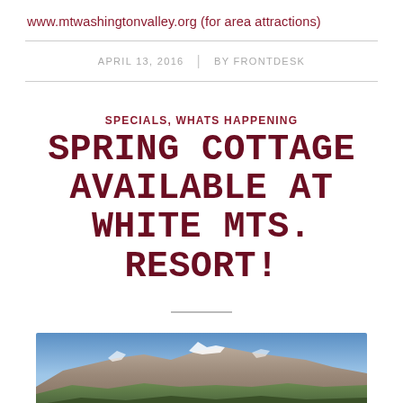www.mtwashingtonvalley.org (for area attractions)
APRIL 13, 2016  |  BY FRONTDESK
SPECIALS, WHATS HAPPENING
SPRING COTTAGE AVAILABLE AT WHITE MTS. RESORT!
[Figure (photo): Mountain landscape with snow-capped peaks under a blue sky with forested slopes in the foreground]